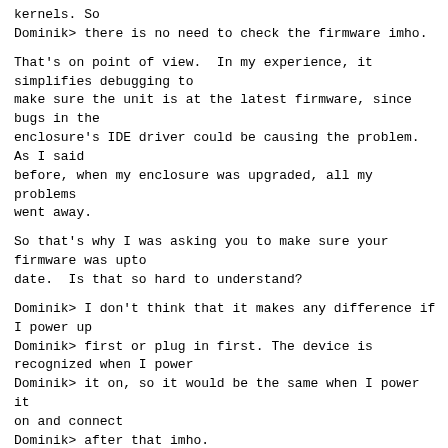kernels. So
Dominik> there is no need to check the firmware imho.
That's on point of view.  In my experience, it
simplifies debugging to
make sure the unit is at the latest firmware, since
bugs in the
enclosure's IDE driver could be causing the problem.
As I said
before, when my enclosure was upgraded, all my problems
went away.
So that's why I was asking you to make sure your
firmware was upto
date.  Is that so hard to understand?
Dominik> I don't think that it makes any difference if
I power up
Dominik> first or plug in first. The device is
recognized when I power
Dominik> it on, so it would be the same when I power it
on and connect
Dominik> after that imho.
Sure it can make a difference.  If the enclosure puts
out crap signals
on the USB bus when it's powered up, and the older
versions of the
Linux kernel dealt with them because of an oversight,
but now we're